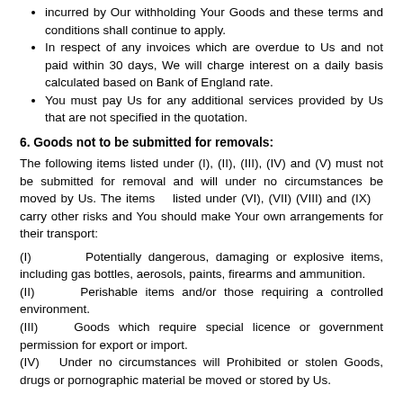incurred by Our withholding Your Goods and these terms and conditions shall continue to apply.
In respect of any invoices which are overdue to Us and not paid within 30 days, We will charge interest on a daily basis calculated based on Bank of England rate.
You must pay Us for any additional services provided by Us that are not specified in the quotation.
6. Goods not to be submitted for removals:
The following items listed under (I), (II), (III), (IV) and (V) must not be submitted for removal and will under no circumstances be moved by Us. The items    listed under (VI), (VII) (VIII) and (IX)   carry other risks and You should make Your own arrangements for their transport:
(I)       Potentially dangerous, damaging or explosive items, including gas bottles, aerosols, paints, firearms and ammunition.
(II)     Perishable items and/or those requiring a controlled environment.
(III)   Goods which require special licence or government permission for export or import.
(IV)  Under no circumstances will Prohibited or stolen Goods, drugs or pornographic material be moved or stored by Us.